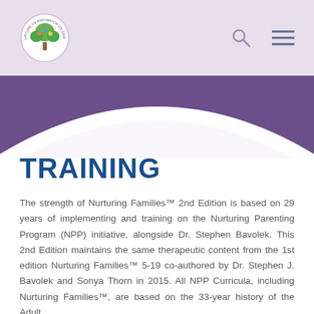Nurture Us And Watch Us Grow — website header with logo, search icon, and menu icon
[Figure (illustration): Decorative purple wave/arc shape transitioning from dark purple header to white content area]
TRAINING
The strength of Nurturing Families™ 2nd Edition is based on 29 years of implementing and training on the Nurturing Parenting Program (NPP) initiative, alongside Dr. Stephen Bavolek. This 2nd Edition maintains the same therapeutic content from the 1st edition Nurturing Families™ 5-19 co-authored by Dr. Stephen J. Bavolek and Sonya Thorn in 2015. All NPP Curricula, including Nurturing Families™, are based on the 33-year history of the Adult